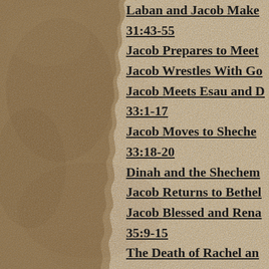Laban and Jacob Make
31:43-55
Jacob Prepares to Meet
Jacob Wrestles With Go
Jacob Meets Esau and D
33:1-17
Jacob Moves to Sheche
33:18-20
Dinah and the Shechem
Jacob Returns to Bethel
Jacob Blessed and Rena
35:9-15
The Death of Rachel an